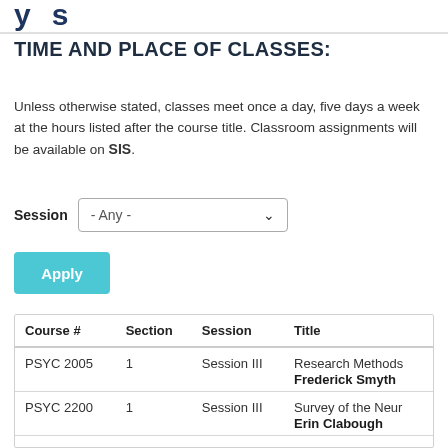Psychology (partial header visible)
TIME AND PLACE OF CLASSES:
Unless otherwise stated, classes meet once a day, five days a week at the hours listed after the course title. Classroom assignments will be available on SIS.
| Course # | Section | Session | Title |
| --- | --- | --- | --- |
| PSYC 2005 | 1 | Session III | Research Methods
Frederick Smyth |
| PSYC 2200 | 1 | Session III | Survey of the Neur
Erin Clabough |
| PSYC 2500 | 1 | Session II | The Psychology of |